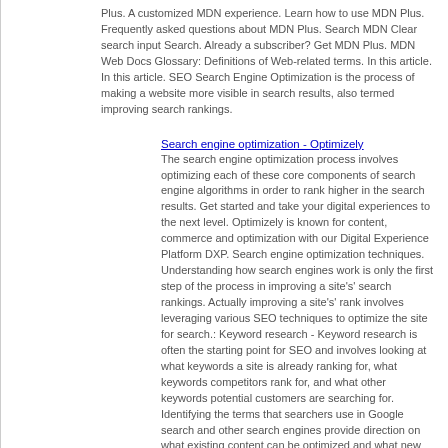Plus. A customized MDN experience. Learn how to use MDN Plus. Frequently asked questions about MDN Plus. Search MDN Clear search input Search. Already a subscriber? Get MDN Plus. MDN Web Docs Glossary: Definitions of Web-related terms. In this article. In this article. SEO Search Engine Optimization is the process of making a website more visible in search results, also termed improving search rankings.
Search engine optimization - Optimizely
The search engine optimization process involves optimizing each of these core components of search engine algorithms in order to rank higher in the search results. Get started and take your digital experiences to the next level. Optimizely is known for content, commerce and optimization with our Digital Experience Platform DXP. Search engine optimization techniques. Understanding how search engines work is only the first step of the process in improving a site's' search rankings. Actually improving a site's' rank involves leveraging various SEO techniques to optimize the site for search.: Keyword research - Keyword research is often the starting point for SEO and involves looking at what keywords a site is already ranking for, what keywords competitors rank for, and what other keywords potential customers are searching for. Identifying the terms that searchers use in Google search and other search engines provide direction on what existing content can be optimized and what new content can be created. Content marketing - Once potential keywords are identified, content marketing comes into play.
Contact Us